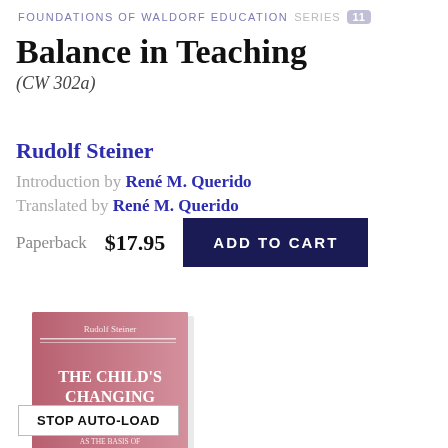FOUNDATIONS OF WALDORF EDUCATION  Series  11
Balance in Teaching
(CW 302a)
Rudolf Steiner
Introduction by René M. Querido
Translated by René M. Querido
Paperback   $17.95   ADD TO CART
[Figure (illustration): Book cover of 'The Child's Changing Consciousness As the Basis of Pedagogical Practice' by Rudolf Steiner, pink/mauve cover with white text]
STOP AUTO-LOAD